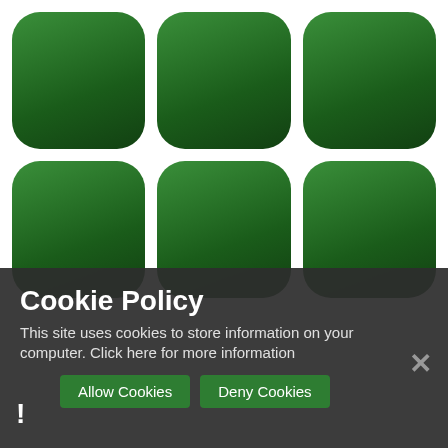[Figure (screenshot): Background showing a 3x2 grid of green rounded-corner tiles on a white background, resembling a mobile app grid or home screen.]
Cookie Policy
This site uses cookies to store information on your computer. Click here for more information
Allow Cookies   Deny Cookies